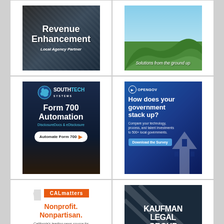[Figure (illustration): Revenue Enhancement Local Agency Partner ad — dark background with chart/graph imagery, white bold text]
[Figure (illustration): Solutions from the ground up ad — green hills landscape with blue sky]
[Figure (illustration): SouthTech Systems Form 700 Automation ad — dark blue background with logo and Automate Form 700 button]
[Figure (illustration): OpenGov — How does your government stack up? survey ad — blue background with capitol building]
[Figure (illustration): CALmatters — Nonprofit. Nonpartisan. California's leading news source for state government & public policy]
[Figure (illustration): Kaufman Legal Group A Professional Corporation — dark navy background with diagonal lines]